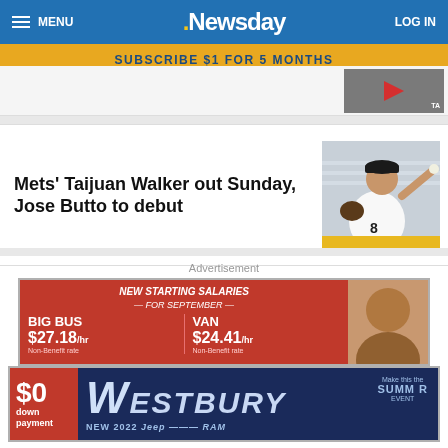MENU | Newsday | LOG IN
SUBSCRIBE $1 FOR 5 MONTHS
[Figure (photo): Thumbnail image with red play button overlay]
Mets' Taijuan Walker out Sunday, Jose Butto to debut
[Figure (photo): Baseball pitcher in white uniform throwing ball]
Advertisement
[Figure (photo): Bus salary advertisement: NEW STARTING SALARIES FOR SEPTEMBER. BIG BUS $27.18/hr Non-Benefit rate. VAN $24.41/hr Non-Benefit rate. With person's face.]
[Figure (photo): Westbury NEW 2022 Jeep advertisement with $0 down payment]